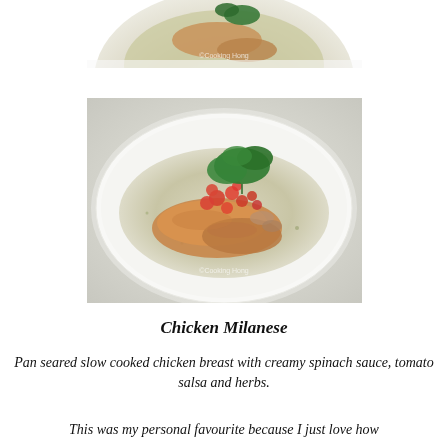[Figure (photo): Partial view of a white plate with creamy spinach sauce and chicken, photographed from above. Watermark reads 'Cooking Hong'.]
[Figure (photo): Full view of Chicken Milanese on a white plate: pan-seared chicken breast topped with diced tomato salsa and fresh herbs, served on creamy spinach sauce. Watermark reads 'Cooking Hong'.]
Chicken Milanese
Pan seared slow cooked chicken breast with creamy spinach sauce, tomato salsa and herbs.
This was my personal favourite because I just love how